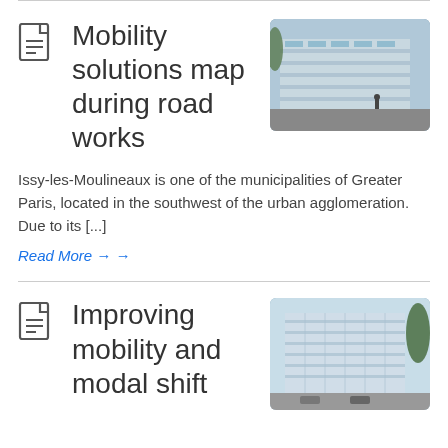Mobility solutions map during road works
[Figure (photo): Modern glass building exterior, urban architecture]
Issy-les-Moulineaux is one of the municipalities of Greater Paris, located in the southwest of the urban agglomeration. Due to its [...]
Read More →
Improving mobility and modal shift
[Figure (photo): Modern building with reflective facade and trees]